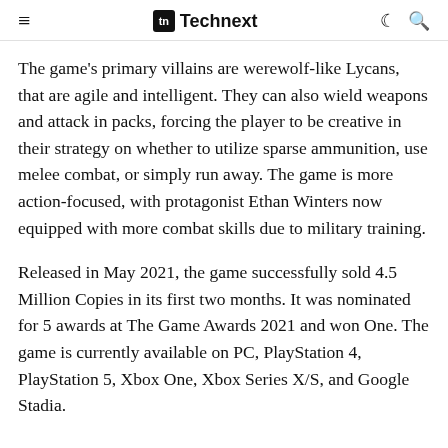≡  tn Technext  ☽ 🔍
The game's primary villains are werewolf-like Lycans, that are agile and intelligent. They can also wield weapons and attack in packs, forcing the player to be creative in their strategy on whether to utilize sparse ammunition, use melee combat, or simply run away. The game is more action-focused, with protagonist Ethan Winters now equipped with more combat skills due to military training.
Released in May 2021, the game successfully sold 4.5 Million Copies in its first two months. It was nominated for 5 awards at The Game Awards 2021 and won One. The game is currently available on PC, PlayStation 4, PlayStation 5, Xbox One, Xbox Series X/S, and Google Stadia.